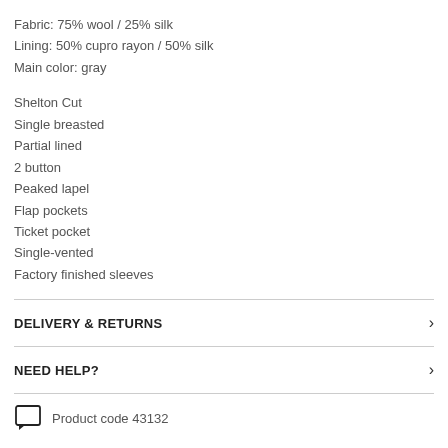Fabric: 75% wool / 25% silk
Lining: 50% cupro rayon / 50% silk
Main color: gray
Shelton Cut
Single breasted
Partial lined
2 button
Peaked lapel
Flap pockets
Ticket pocket
Single-vented
Factory finished sleeves
DELIVERY & RETURNS
NEED HELP?
Product code 43132